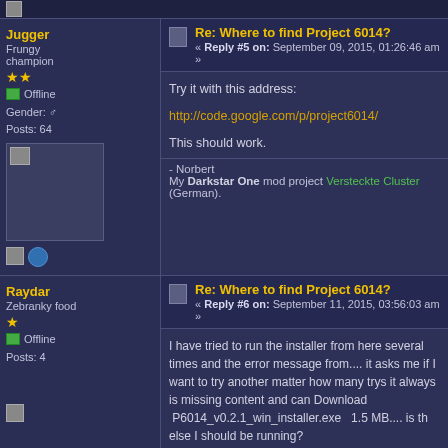Jugger
Frungy champion
Offline
Gender: Male
Posts: 64
Re: Where to find Project 6014?
« Reply #5 on: September 09, 2015, 01:26:46 am »
Try it with this address:
http://code.google.com/p/project6014/
This should work.
- Norbert
My Darkstar One mod project Versteckte Cluster (German).
Raydar
Zebranky food
Offline
Posts: 4
Re: Where to find Project 6014?
« Reply #6 on: September 11, 2015, 03:56:03 am »
I have tried to run the installer from here several times and the error message from.... it asks me if I want to try another matter how many trys it always is missing content and can Download  P6014_v0.2.1_win_installer.exe   1.5 MB.... is the else I should be running?